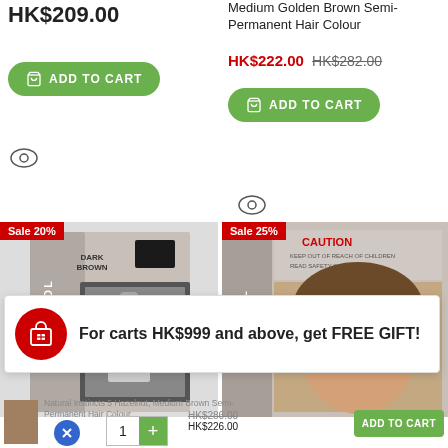HK$209.00
Medium Golden Brown Semi-Permanent Hair Colour
HK$222.00 HK$282.00
ADD TO CART
ADD TO CART
[Figure (screenshot): Eye/quick-view icon left]
[Figure (screenshot): Eye/quick-view icon right]
[Figure (photo): Clairol Dark Brown hair colour product box with Sale 20% badge]
[Figure (photo): Clairol hair colour product box with woman model and Sale 25% badge]
For carts HK$999 and above, get FREE GIFT!
Natural Instincts 5 Hazelnut, Medium Brown Semi-Permanent Hair Colour
HK$286.00 HK$226.00
ADD TO CART